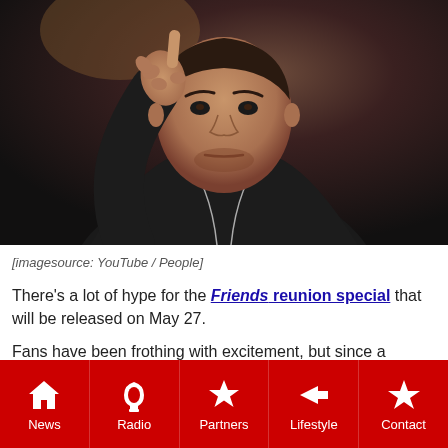[Figure (photo): A middle-aged man in a black jacket pointing finger upward with a serious expression, against a dark blurred background.]
[imagesource: YouTube / People]
There's a lot of hype for the Friends reunion special that will be released on May 27.
Fans have been frothing with excitement, but since a
News | Radio | Partners | Lifestyle | Contact